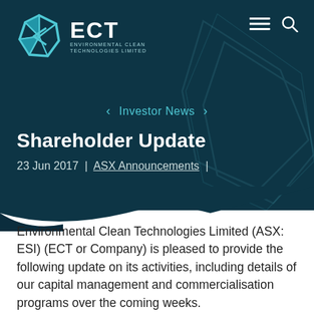[Figure (logo): ECT Environmental Clean Technologies Limited logo with teal geometric hexagon-like icon]
Investor News
Shareholder Update
23 Jun 2017  |  ASX Announcements  |
Environmental Clean Technologies Limited (ASX: ESI) (ECT or Company) is pleased to provide the following update on its activities, including details of our capital management and commercialisation programs over the coming weeks.